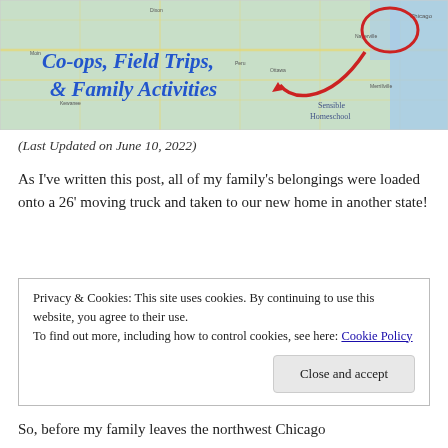[Figure (map): Banner image showing a map of the Chicago/Illinois area with a red arrow/circle pointing to the region, and cursive blue text reading 'Co-ops, Field Trips, & Family Activities' with 'Sensible Homeschool' text in the lower right]
(Last Updated on June 10, 2022)
As I've written this post, all of my family's belongings were loaded onto a 26' moving truck and taken to our new home in another state!
Privacy & Cookies: This site uses cookies. By continuing to use this website, you agree to their use.
To find out more, including how to control cookies, see here: Cookie Policy
[Close and accept]
So, before my family leaves the northwest Chicago